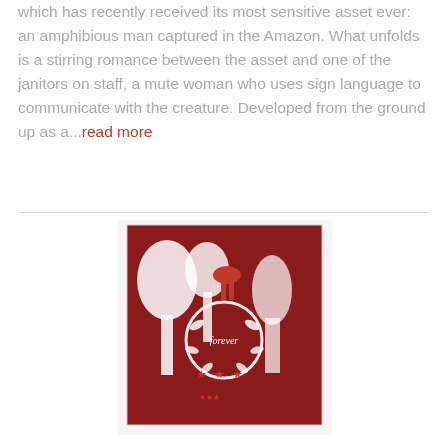which has recently received its most sensitive asset ever: an amphibious man captured in the Amazon. What unfolds is a stirring romance between the asset and one of the janitors on staff, a mute woman who uses sign language to communicate with the creature. Developed from the ground up as a...read more
[Figure (illustration): Book cover for 'Forever (Shiver, Book 3)' showing red and white silhouette art with trees, deer, and a person. Three red star ratings overlaid at the bottom center.]
Forever (Shiver, Book 3)
Maggie Stiefvater
FORMAT: Unabridged NARRATOR: Jenna Lamia & Pierce Cravens The stirring conclusion to the love affair begun in...read more